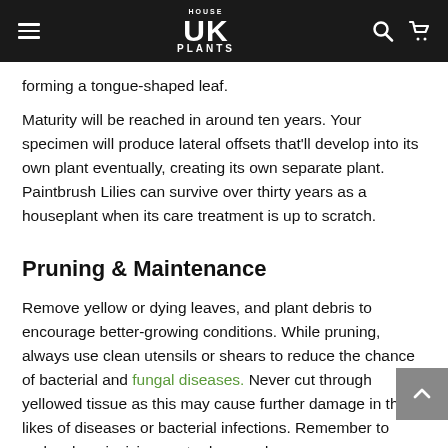House UK Plants
forming a tongue-shaped leaf.
Maturity will be reached in around ten years. Your specimen will produce lateral offsets that'll develop into its own plant eventually, creating its own separate plant. Paintbrush Lilies can survive over thirty years as a houseplant when its care treatment is up to scratch.
Pruning & Maintenance
Remove yellow or dying leaves, and plant debris to encourage better-growing conditions. While pruning, always use clean utensils or shears to reduce the chance of bacterial and fungal diseases. Never cut through yellowed tissue as this may cause further damage in the likes of diseases or bacterial infections. Remember to make clean incisions onto damaged